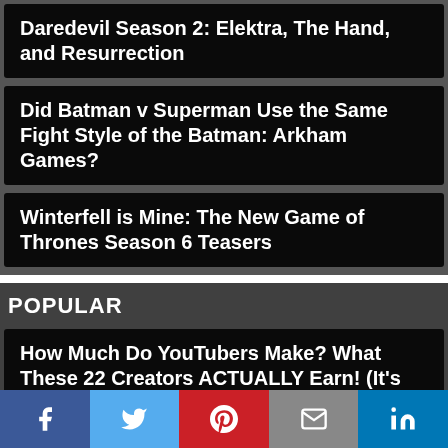Daredevil Season 2: Elektra, The Hand, and Resurrection
Did Batman v Superman Use the Same Fight Style of the Batman: Arkham Games?
Winterfell is Mine: The New Game of Thrones Season 6 Teasers
POPULAR
How Much Do YouTubers Make? What These 22 Creators ACTUALLY Earn! (It's Much More Than You Think)